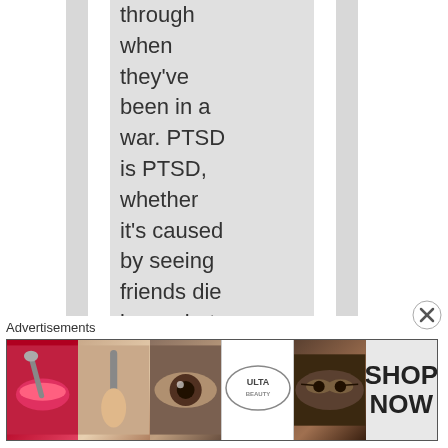through when they've been in a war. PTSD is PTSD, whether it's caused by seeing friends die in combat, having to kill civilians of the "enemy" country, or
[Figure (other): Advertisements banner showing Ulta Beauty cosmetics advertisement with multiple panels: lips with makeup brush, eye with brush, eye close-up, Ulta Beauty logo, eyes with dramatic makeup, and SHOP NOW text on grey background]